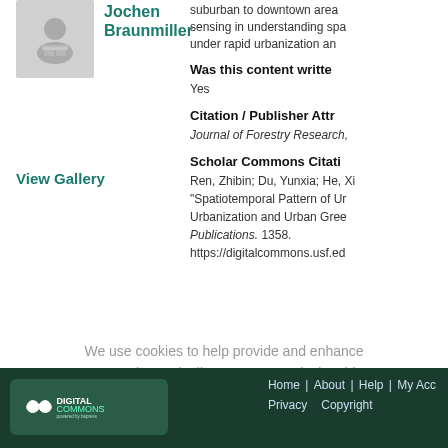[Figure (photo): User avatar/profile placeholder image with person silhouette icon]
Jochen Braunmiller
suburban to downtown area sensing in understanding spa under rapid urbanization an
View Gallery
Was this content writte
Yes
Citation / Publisher Attr
Journal of Forestry Research,
Scholar Commons Citati
Ren, Zhibin; Du, Yunxia; He, Xi "Spatiotemporal Pattern of Ur Urbanization and Urban Gree Publications. 1358. https://digitalcommons.usf.ed
We use cookies to help provide and enhance our service and tailor content. By closing this message, you agree to the use of cookies.
Home | About | Help | My Acc Privacy Copyright